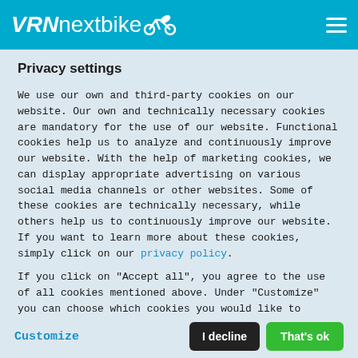VRN nextbike
Privacy settings
We use our own and third-party cookies on our website. Our own and technically necessary cookies are mandatory for the use of our website. Functional cookies help us to analyze and continuously improve our website. With the help of marketing cookies, we can display appropriate advertising on various social media channels or other websites. Some of these cookies are technically necessary, while others help us to continuously improve our website. If you want to learn more about these cookies, simply click on our privacy policy.
If you click on "Accept all", you agree to the use of all cookies mentioned above. Under "Customize" you can choose which cookies you would like to activate and which not and you can also revoke all settings at any time.
Customize | I decline | That's ok